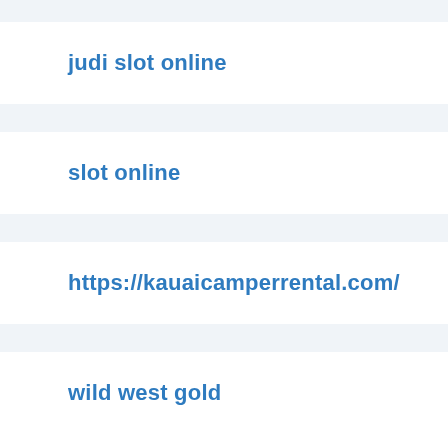judi slot online
slot online
https://kauaicamperrental.com/
wild west gold